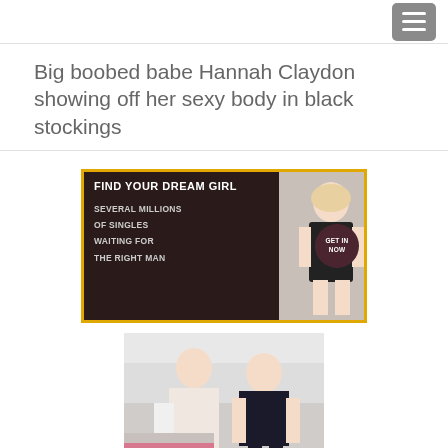Navigation bar with hamburger menu
Big boobed babe Hannah Claydon showing off her sexy body in black stockings
[Figure (illustration): Advertisement banner: FIND YOUR DREAM GIRL - SEVERAL MILLIONS OF SINGLES WAITING FOR THE RIGHT MAN - GET IN NOW]
[Figure (photo): Photo of two blonde women, one in white stockings, one in black outfit]